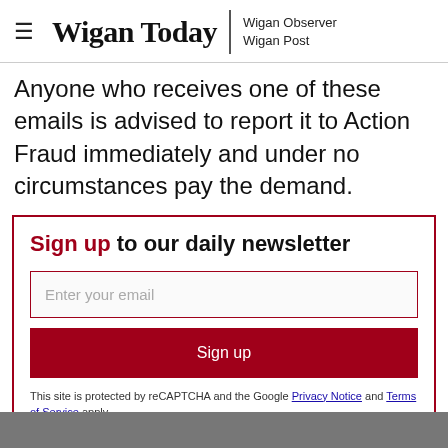Wigan Today | Wigan Observer Wigan Post
Anyone who receives one of these emails is advised to report it to Action Fraud immediately and under no circumstances pay the demand.
Sign up to our daily newsletter
Enter your email
Sign up
This site is protected by reCAPTCHA and the Google Privacy Notice and Terms of Service apply.